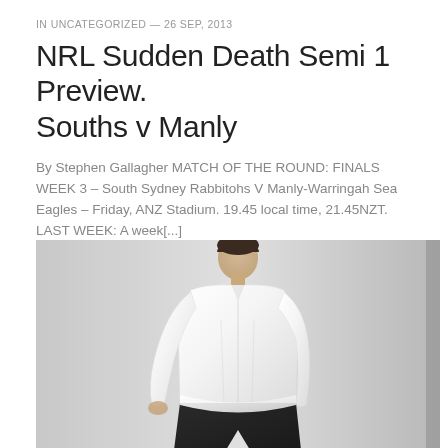IN UNCATEGORIZED — 26 SEP, 2013
NRL Sudden Death Semi 1 Preview. Souths v Manly
By Stephen Gallagher MATCH OF THE ROUND: FINALS WEEK 3 – South Sydney Rabbitohs V Manly-Warringah Sea Eagles – Friday, ANZ Stadium. 19.45 local time, 21.45NZT. LAST WEEK: A week[...]
Read more
[Figure (photo): Person wearing a white button-up shirt with dark pants, photographed against a light grey background, visible from torso to knees]